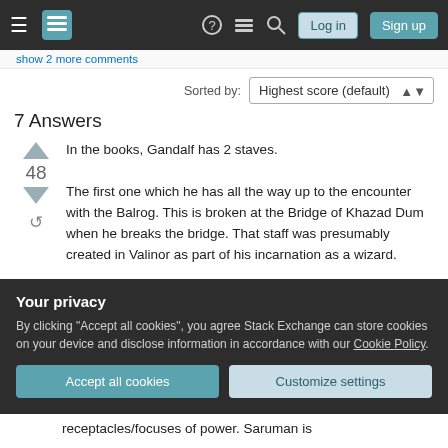[Figure (screenshot): Stack Exchange navigation bar with hamburger menu, logo, help, chat, search icons, and Log in / Sign up buttons]
show 2 more comments
Sorted by:
7 Answers
Highest score (default)
In the books, Gandalf has 2 staves.
The first one which he has all the way up to the encounter with the Balrog. This is broken at the Bridge of Khazad Dum when he breaks the bridge. That staff was presumably created in Valinor as part of his incarnation as a wizard.
Your privacy
By clicking "Accept all cookies", you agree Stack Exchange can store cookies on your device and disclose information in accordance with our Cookie Policy.
Accept all cookies
Customize settings
receptacles/focuses of power. Saruman is